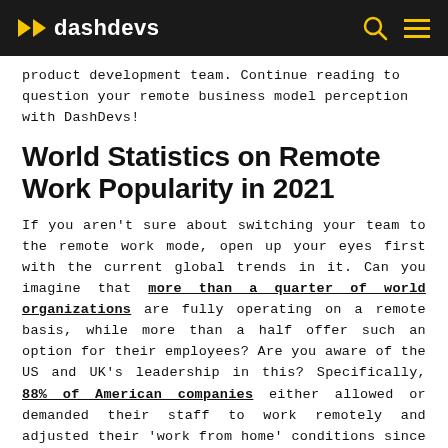dashdevs
product development team. Continue reading to question your remote business model perception with DashDevs!
World Statistics on Remote Work Popularity in 2021
If you aren't sure about switching your team to the remote work mode, open up your eyes first with the current global trends in it. Can you imagine that more than a quarter of world organizations are fully operating on a remote basis, while more than a half offer such an option for their employees? Are you aware of the US and UK's leadership in this? Specifically, 88% of American companies either allowed or demanded their staff to work remotely and adjusted their 'work from home' conditions since the pandemic. Simultaneously, the British adults are now showing the 60% of 'work from home' personnel